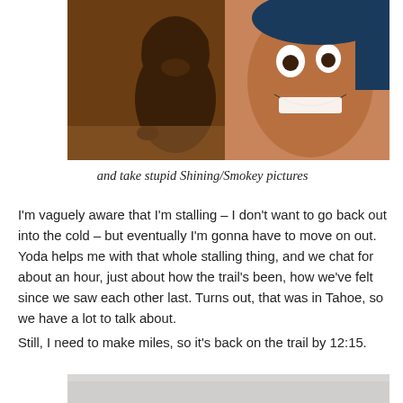[Figure (photo): A smiling woman next to a dark brown carved bear figurine (Smokey Bear / Shining reference). Close-up photo with warm tones.]
and take stupid Shining/Smokey pictures
I'm vaguely aware that I'm stalling – I don't want to go back out into the cold – but eventually I'm gonna have to move on out. Yoda helps me with that whole stalling thing, and we chat for about an hour, just about how the trail's been, how we've felt since we saw each other last. Turns out, that was in Tahoe, so we have a lot to talk about.
Still, I need to make miles, so it's back on the trail by 12:15.
[Figure (photo): Bottom of another photo, light grey/overcast scene, partially visible.]